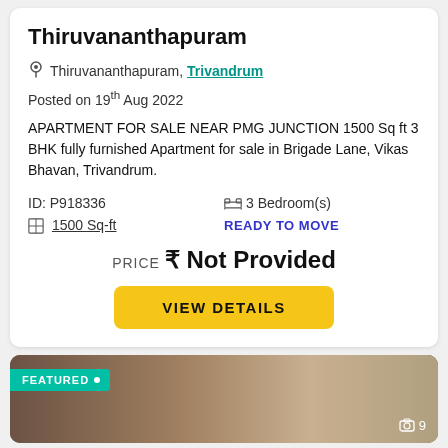Thiruvananthapuram
Thiruvananthapuram, Trivandrum
Posted on 19th Aug 2022
APARTMENT FOR SALE NEAR PMG JUNCTION 1500 Sq ft 3 BHK fully furnished Apartment for sale in Brigade Lane, Vikas Bhavan, Trivandrum.
ID: P918336   3 Bedroom(s)
1500 Sq-ft   READY TO MOVE
PRICE ₹ Not Provided
VIEW DETAILS
[Figure (photo): Interior photo of an apartment room with FEATURED badge and photo count of 9]